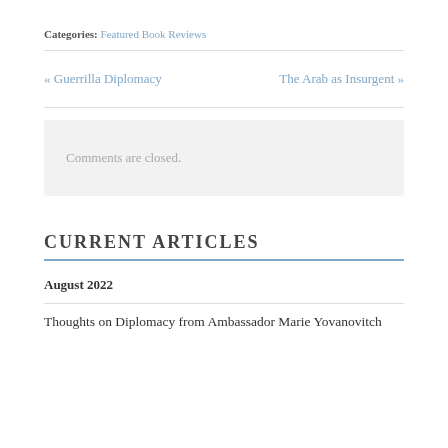Categories: Featured Book Reviews
« Guerrilla Diplomacy   The Arab as Insurgent »
Comments are closed.
CURRENT ARTICLES
August 2022
Thoughts on Diplomacy from Ambassador Marie Yovanovitch